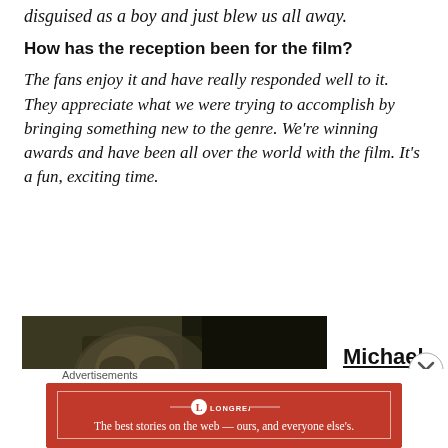disguised as a boy and just blew us all away.
How has the reception been for the film?
The fans enjoy it and have really responded well to it. They appreciate what we were trying to accomplish by bringing something new to the genre. We're winning awards and have been all over the world with the film. It's a fun, exciting time.
[Figure (photo): Close-up photo of a person's face, dark toned, film still]
Michael
Advertisements
[Figure (logo): Longreads advertisement banner: red background with Longreads logo and tagline 'The best stories on the web — ours, and everyone else's.']